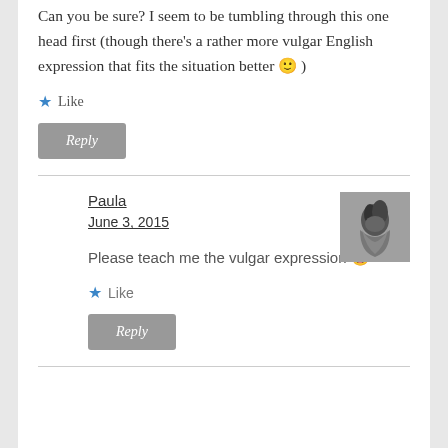Can you be sure? I seem to be tumbling through this one head first (though there's a rather more vulgar English expression that fits the situation better 🙂 )
★ Like
Reply
Paula
June 3, 2015
[Figure (photo): Black and white avatar photo of a person with curly hair]
Please teach me the vulgar expression 😀
★ Like
Reply